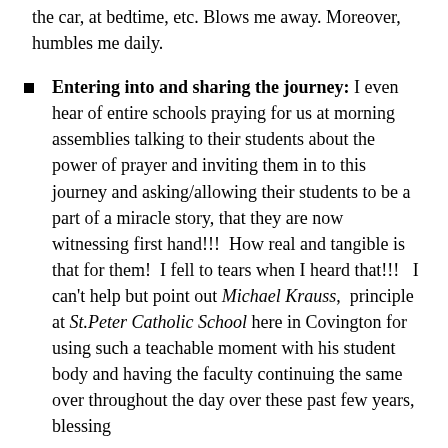the car, at bedtime, etc. Blows me away. Moreover, humbles me daily.
Entering into and sharing the journey: I even hear of entire schools praying for us at morning assemblies talking to their students about the power of prayer and inviting them in to this journey and asking/allowing their students to be a part of a miracle story, that they are now witnessing first hand!!!  How real and tangible is that for them!  I fell to tears when I heard that!!!   I can't help but point out Michael Krauss,  principle at St.Peter Catholic School here in Covington for using such a teachable moment with his student body and having the faculty continuing the same over throughout the day over these past few years, blessing